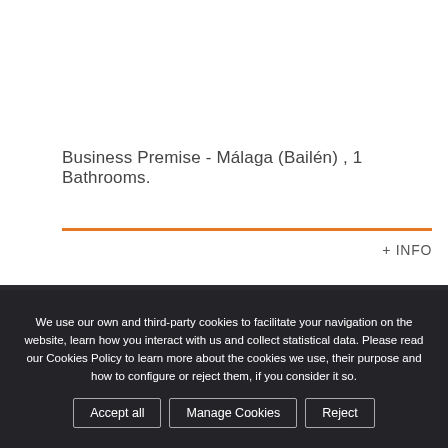Business Premise - Málaga (Bailén) , 1 Bathrooms.
+ INFO
QUESTION?
We use our own and third-party cookies to facilitate your navigation on the website, learn how you interact with us and collect statistical data. Please read our Cookies Policy to learn more about the cookies we use, their purpose and how to configure or reject them, if you consider it so.
Accept all
Manage Cookies
Reject